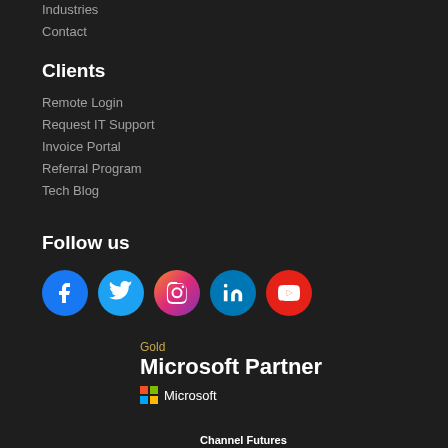Industries
Contact
Clients
Remote Login
Request IT Support
Invoice Portal
Referral Program
Tech Blog
Follow us
[Figure (infographic): Social media icons: Facebook, Twitter, Instagram, LinkedIn, YouTube]
[Figure (logo): Gold Microsoft Partner logo with Microsoft branding]
[Figure (logo): Channel Futures logo (partially visible)]